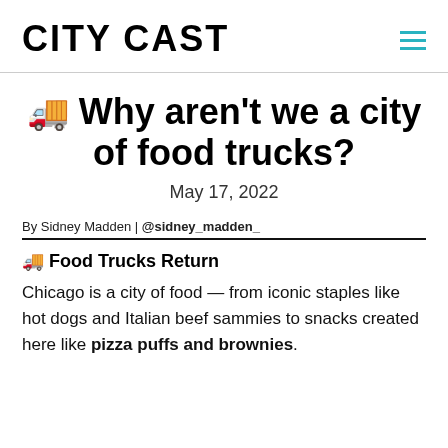CITY CAST
🚚 Why aren't we a city of food trucks?
May 17, 2022
By Sidney Madden | @sidney_madden_
🚚 Food Trucks Return
Chicago is a city of food — from iconic staples like hot dogs and Italian beef sammies to snacks created here like pizza puffs and brownies.